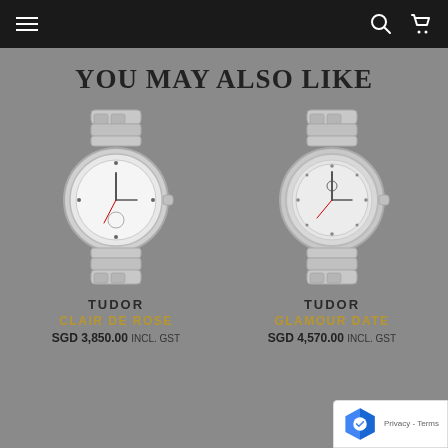Navigation bar with menu, search, and cart icons
YOU MAY ALSO LIKE
[Figure (photo): Tudor Clair De Rose watch with silver bracelet and white dial]
TUDOR
CLAIR DE ROSE
SGD 3,850.00 INCL. GST
[Figure (photo): Tudor Glamour Date watch with silver bracelet and mother of pearl dial]
TUDOR
GLAMOUR DATE
SGD 4,570.00 INCL. GST